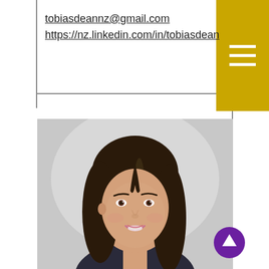tobiasdeannz@gmail.com
https://nz.linkedin.com/in/tobiasdean
[Figure (photo): Professional headshot of a young woman with dark hair, smiling, on a grey background]
[Figure (other): Gold/yellow square block with three horizontal white lines (hamburger menu icon) in the top-right corner]
[Figure (other): Purple circle with white upward arrow, scroll-to-top button, bottom-right corner]